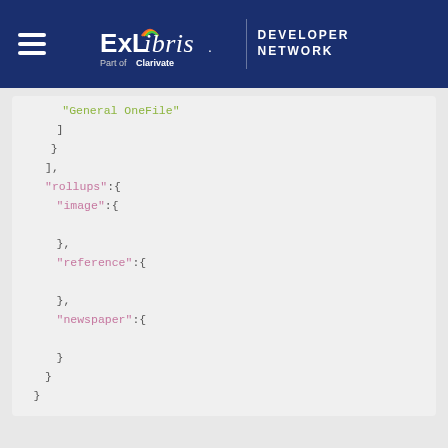ExLibris Part of Clarivate | DEVELOPER NETWORK
"General OneFile"
]
}
],
"rollups":{
"image":{

},
"reference":{

},
"newspaper":{

}
}
}